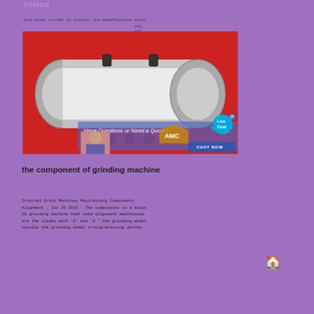ireland
iron stone crusher in ireland. Ore beneficiation plant ...old, ...and ...s ...skills
[Figure (photo): Photo of a grinding machine showing a cylindrical metallic component mounted between two red support frames. An overlay chat widget appears at the bottom with 'Have Questions or Need a Quote?' text and a 'CHAT NOW' button with AMC logo and a customer service representative image.]
the component of grinding machine
Internal Grind Machines Maintaining Components Alignment . Jun 26 2015 · The components on a basic ID grinding machine that need alignment maintained are the slides both 'X' and 'Z ' the grinding wheel spindle the grinding wheel truing/dressing device